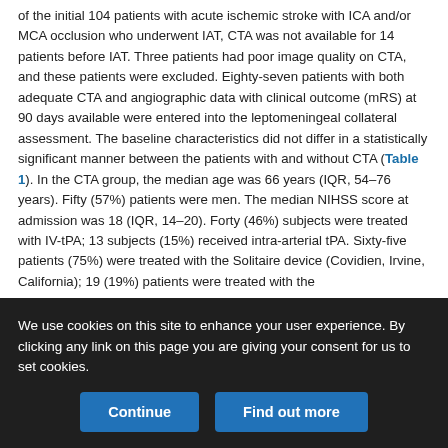of the initial 104 patients with acute ischemic stroke with ICA and/or MCA occlusion who underwent IAT, CTA was not available for 14 patients before IAT. Three patients had poor image quality on CTA, and these patients were excluded. Eighty-seven patients with both adequate CTA and angiographic data with clinical outcome (mRS) at 90 days available were entered into the leptomeningeal collateral assessment. The baseline characteristics did not differ in a statistically significant manner between the patients with and without CTA (Table 1). In the CTA group, the median age was 66 years (IQR, 54–76 years). Fifty (57%) patients were men. The median NIHSS score at admission was 18 (IQR, 14–20). Forty (46%) subjects were treated with IV-tPA; 13 subjects (15%) received intra-arterial tPA. Sixty-five patients (75%) were treated with the Solitaire device (Covidien, Irvine, California); 19 (19%) patients were treated with the
We use cookies on this site to enhance your user experience. By clicking any link on this page you are giving your consent for us to set cookies.